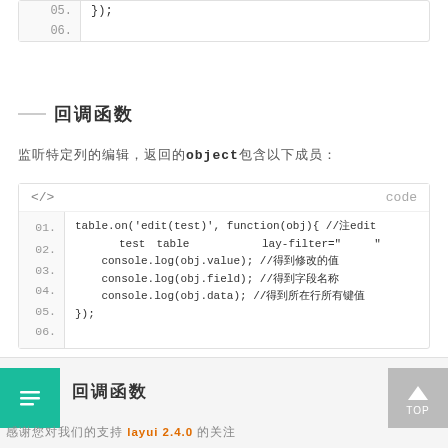05.   });
06.
回调函数
监听特定列的编辑，返回的object包含以下成员：
01. table.on('edit(test)', function(obj){ //注：edit是固定事件名，test是table原始容器的属性 lay-filter="对应的值"
02.     console.log(obj.value); //得到修改的值
03.     console.log(obj.field); //得到字段名称
04.     console.log(obj.data); //得到所在行所有键值
05. });
06.
回调函数
感谢您对 layui 2.4.0 的关注